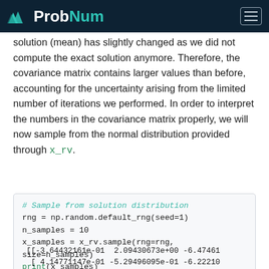ProbNum
solution (mean) has slightly changed as we did not compute the exact solution anymore. Therefore, the covariance matrix contains larger values than before, accounting for the uncertainty arising from the limited number of iterations we performed. In order to interpret the numbers in the covariance matrix properly, we will now sample from the normal distribution provided through x_rv.
# Sample from solution distribution
rng = np.random.default_rng(seed=1)
n_samples = 10
x_samples = x_rv.sample(rng=rng, size=n_samples)
print(x_samples)
[[-3.64432161e-01  2.09430673e+00 -6.47461
 [ 4.14771147e-01 -5.29496095e-01 -6.22210
 [ 5.26593690e-02  6.89838958e-01 -6.33944